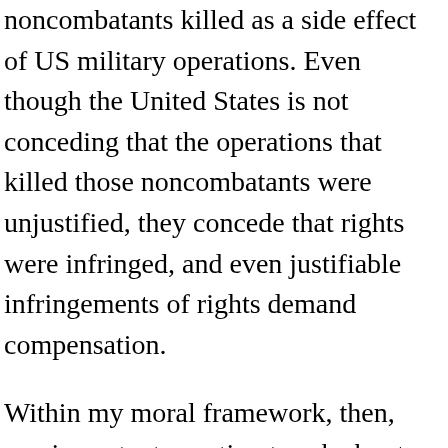noncombatants killed as a side effect of US military operations. Even though the United States is not conceding that the operations that killed those noncombatants were unjustified, they concede that rights were infringed, and even justifiable infringements of rights demand compensation.
Within my moral framework, then, one important question to ask about the use of American military force in Iraq and Syria is whether, on balance, its objectives are not only attainable, but also valuable enough to justify the infringement upon